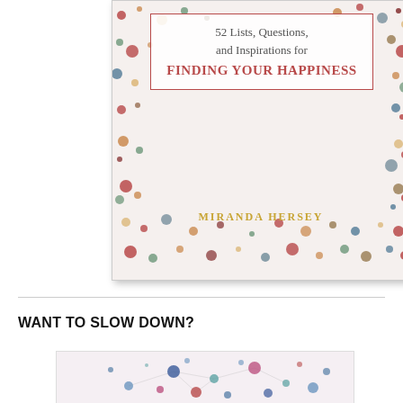[Figure (illustration): Book cover for '52 Lists, Questions, and Inspirations for FINDING YOUR HAPPINESS' by Miranda Hersey. White background with colorful polka dots in red, orange, teal, brown, beige. A bordered title box in the upper center area shows the title text. Author name 'MIRANDA HERSEY' appears in gold lettering in the lower portion of the cover.]
WANT TO SLOW DOWN?
[Figure (illustration): Partial view of another book cover with a light pink background and scattered colorful dots connected by lines, resembling a network or constellation pattern. Colors include blue, teal, pink/red, and dark navy.]